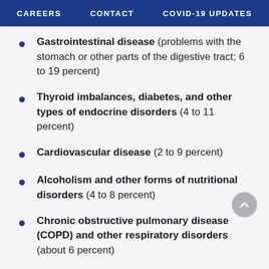CAREERS   CONTACT   COVID-19 UPDATES
Gastrointestinal disease (problems with the stomach or other parts of the digestive tract; 6 to 19 percent)
Thyroid imbalances, diabetes, and other types of endocrine disorders (4 to 11 percent)
Cardiovascular disease (2 to 9 percent)
Alcoholism and other forms of nutritional disorders (4 to 8 percent)
Chronic obstructive pulmonary disease (COPD) and other respiratory disorders (about 6 percent)